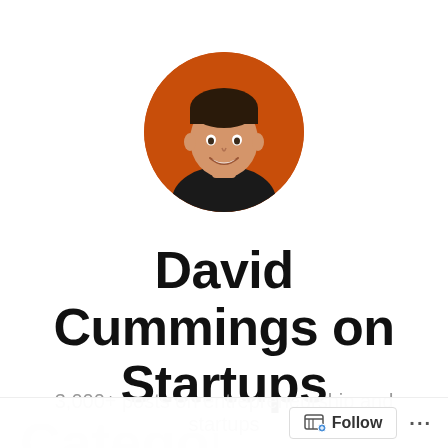[Figure (photo): Circular profile photo of David Cummings — man with short dark hair smiling, on an orange background]
David Cummings on Startups
3,000+ posts on entrepreneurship and startups
Category: Communit…
Follow